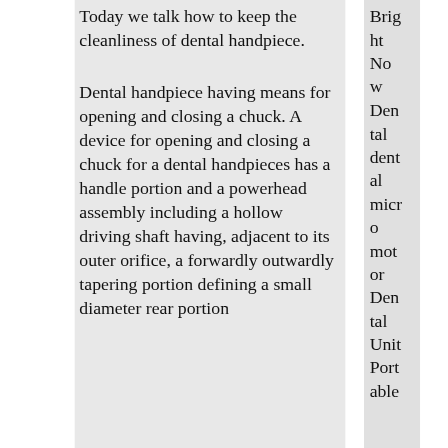Today we talk how to keep the cleanliness of dental handpiece.
Dental handpiece having means for opening and closing a chuck. A device for opening and closing a chuck for a dental handpieces has a handle portion and a powerhead assembly including a hollow driving shaft having, adjacent to its outer orifice, a forwardly outwardly tapering portion defining a small diameter rear portion and a large diameter front portion
Bright Now Dental dental micro motor Dental Unit Portable